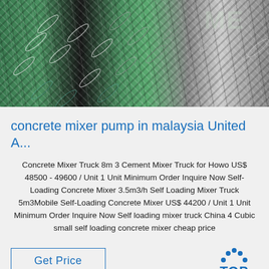[Figure (photo): Metal checker plate / diamond plate texture in green, black, and silver/grey tones, with a faint watermark text 'ME' in the top right corner]
concrete mixer pump in malaysia United A...
Concrete Mixer Truck 8m 3 Cement Mixer Truck for Howo US$ 48500 - 49600 / Unit 1 Unit Minimum Order Inquire Now Self-Loading Concrete Mixer 3.5m3/h Self Loading Mixer Truck 5m3Mobile Self-Loading Concrete Mixer US$ 44200 / Unit 1 Unit Minimum Order Inquire Now Self loading mixer truck China 4 Cubic small self loading concrete mixer cheap price
[Figure (logo): TOP logo with blue dots arranged in an arc above the word TOP in blue text]
Get Price
[Figure (photo): Partial image at bottom of page, appears to be construction or industrial equipment]